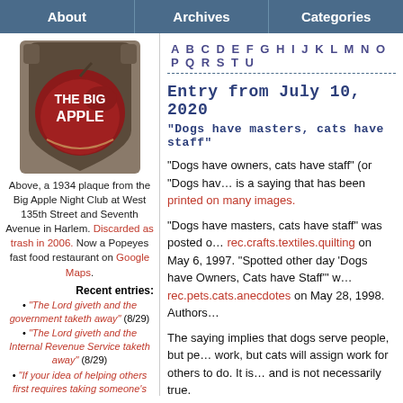About | Archives | Categories
[Figure (photo): A 1934 plaque from the Big Apple Night Club, shield-shaped with 'THE BIG APPLE' text on a dark red background]
Above, a 1934 plaque from the Big Apple Night Club at West 135th Street and Seventh Avenue in Harlem. Discarded as trash in 2006. Now a Popeyes fast food restaurant on Google Maps.
Recent entries:
"The Lord giveth and the government taketh away" (8/29)
"The Lord giveth and the Internal Revenue Service taketh away" (8/29)
"If your idea of helping others first requires taking someone's property…" (8/29)
A B C D E F G H I J K L M N O P Q R S T U
Entry from July 10, 2020
“Dogs have masters, cats have staff”
“Dogs have owners, cats have staff” (or “Dogs have masters…”) is a saying that has been printed on many images.
“Dogs have masters, cats have staff” was posted on rec.crafts.textiles.quilting on May 6, 1997. “Spotted other day ‘Dogs have Owners, Cats have Staff’” w… rec.pets.cats.anecdotes on May 28, 1998. Authors…
The saying implies that dogs serve people, but pe… work, but cats will assign work for others to do. It is… and is not necessarily true.
Google Groups: rec.crafts.textiles.quilting
OT: Cats, again